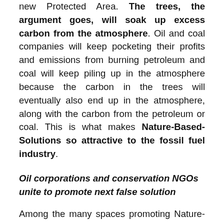new Protected Area. The trees, the argument goes, will soak up excess carbon from the atmosphere. Oil and coal companies will keep pocketing their profits and emissions from burning petroleum and coal will keep piling up in the atmosphere because the carbon in the trees will eventually also end up in the atmosphere, along with the carbon from the petroleum or coal. This is what makes Nature-Based-Solutions so attractive to the fossil fuel industry.
Oil corporations and conservation NGOs unite to promote next false solution
Among the many spaces promoting Nature-Based-Distractions at the UN climate meeting, one stood out. On 5 December 2019, the International Emissions Trading Association (IETA) launched its